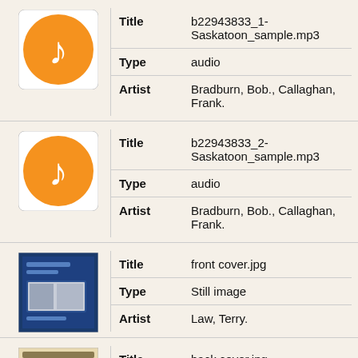| Thumbnail | Field | Value |
| --- | --- | --- |
| [music icon] | Title | b22943833_1-Saskatoon_sample.mp3 |
|  | Type | audio |
|  | Artist | Bradburn, Bob., Callaghan, Frank. |
| [music icon] | Title | b22943833_2-Saskatoon_sample.mp3 |
|  | Type | audio |
|  | Artist | Bradburn, Bob., Callaghan, Frank. |
| [cover image] | Title | front cover.jpg |
|  | Type | Still image |
|  | Artist | Law, Terry. |
| [back cover image] | Title | back cover.jpg |